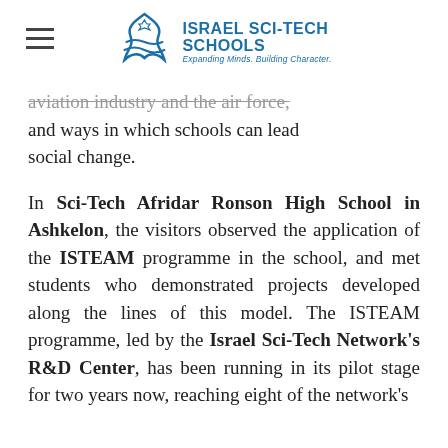ISRAEL SCI-TECH SCHOOLS — Expanding Minds. Building Character.
aviation industry and the air force, and ways in which schools can lead social change.
In Sci-Tech Afridar Ronson High School in Ashkelon, the visitors observed the application of the ISTEAM programme in the school, and met students who demonstrated projects developed along the lines of this model. The ISTEAM programme, led by the Israel Sci-Tech Network's R&D Center, has been running in its pilot stage for two years now, reaching eight of the network's